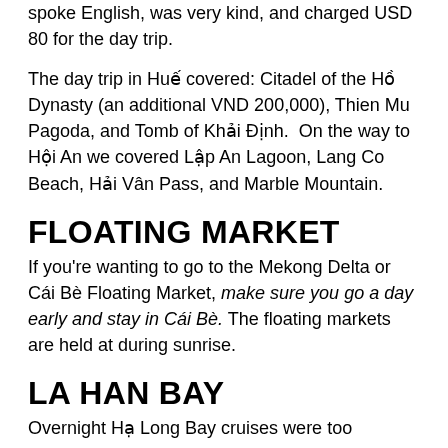spoke English, was very kind, and charged USD 80 for the day trip.
The day trip in Huế covered: Citadel of the Hồ Dynasty (an additional VND 200,000), Thien Mu Pagoda, and Tomb of Khải Định.  On the way to Hội An we covered Lập An Lagoon, Lang Co Beach, Hải Vân Pass, and Marble Mountain.
FLOATING MARKET
If you're wanting to go to the Mekong Delta or Cái Bè Floating Market, make sure you go a day early and stay in Cái Bè. The floating markets are held at during sunrise.
LA HAN BAY
Overnight Hạ Long Bay cruises were too expensive, so we took  a day cruise of La Han Bay. I got mine for 15 dollars, booked it from my hotel in Cát Bà after arriving.
DA NANG DRAGON BRIDGE
Da Nang Dragon Bridge is a really fancy attraction and a working bridge. The dragon breathes fire at 9 PM on